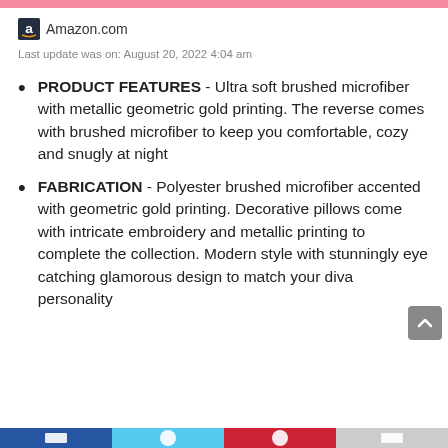Amazon.com
Last update was on: August 20, 2022 4:04 am
PRODUCT FEATURES - Ultra soft brushed microfiber with metallic geometric gold printing. The reverse comes with brushed microfiber to keep you comfortable, cozy and snugly at night
FABRICATION - Polyester brushed microfiber accented with geometric gold printing. Decorative pillows come with intricate embroidery and metallic printing to complete the collection. Modern style with stunningly eye catching glamorous design to match your diva personality